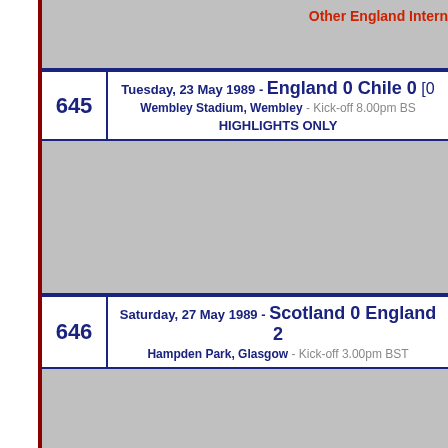Other England Intern...
| # | Match Info |
| --- | --- |
| 645 | Tuesday, 23 May 1989 - England 0 Chile 0 [...]
Wembley Stadium, Wembley - Kick-off 8.00pm BST
HIGHLIGHTS ONLY |
| 646 | Saturday, 27 May 1989 - Scotland 0 England 2
Hampden Park, Glasgow - Kick-off 3.00pm BST |
| 647 | Saturday, 3 June 1989 - England 3 Poland 0 [...]
Wembley Stadium, Wembley - Kick-off 3.00pm BST
HIGHLIGHTS ONLY |